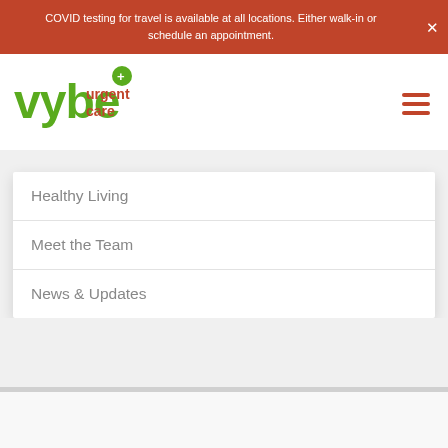COVID testing for travel is available at all locations. Either walk-in or schedule an appointment.
[Figure (logo): vybe urgent care logo — green stylized text with a green leaf/cross icon above the e, and orange 'urgent care' text]
Healthy Living
Meet the Team
News & Updates